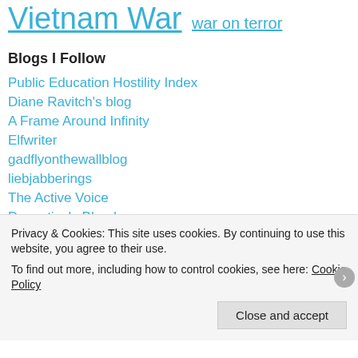Vietnam War   war on terror
Blogs I Follow
Public Education Hostility Index
Diane Ravitch's blog
A Frame Around Infinity
Elfwriter
gadflyonthewallblog
liebjabberings
The Active Voice
Deceptively Blonde
Privacy & Cookies: This site uses cookies. By continuing to use this website, you agree to their use. To find out more, including how to control cookies, see here: Cookie Policy Close and accept